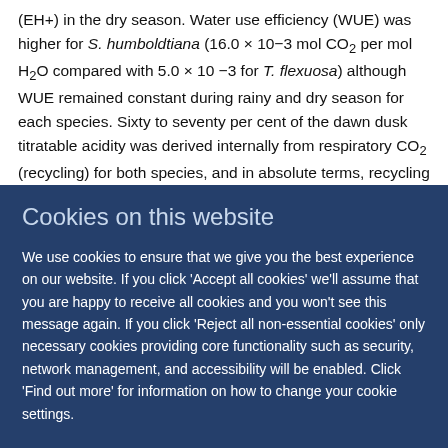(EH+) in the dry season. Water use efficiency (WUE) was higher for S. humboldtiana (16.0 × 10−3 mol CO2 per mol H2O compared with 5.0 × 10 −3 for T. flexuosa) although WUE remained constant during rainy and dry season for each species. Sixty to seventy per cent of the dawn dusk titratable acidity was derived internally from respiratory CO2 (recycling) for both species, and in absolute terms, recycling decreased in the dry season, in contrast to the expected progression under
Cookies on this website
We use cookies to ensure that we give you the best experience on our website. If you click 'Accept all cookies' we'll assume that you are happy to receive all cookies and you won't see this message again. If you click 'Reject all non-essential cookies' only necessary cookies providing core functionality such as security, network management, and accessibility will be enabled. Click 'Find out more' for information on how to change your cookie settings.